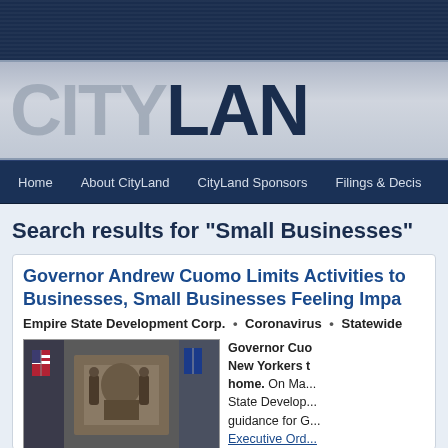CityLand website header banner
[Figure (logo): CityLand logo with CITY in gray and LAND in dark navy blue on a gray gradient background]
Home | About CityLand | CityLand Sponsors | Filings & Decis...
Search results for "Small Businesses"
Governor Andrew Cuomo Limits Activities to Businesses, Small Businesses Feeling Impa...
Empire State Development Corp. • Coronavirus • Statewide
Governor Cuo... New Yorkers t... home. On Ma... State Develop... guidance for G... Executive Ord...